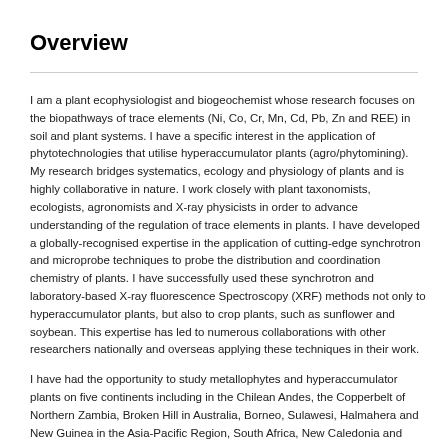Overview
I am a plant ecophysiologist and biogeochemist whose research focuses on the biopathways of trace elements (Ni, Co, Cr, Mn, Cd, Pb, Zn and REE) in soil and plant systems. I have a specific interest in the application of phytotechnologies that utilise hyperaccumulator plants (agro/phytomining). My research bridges systematics, ecology and physiology of plants and is highly collaborative in nature. I work closely with plant taxonomists, ecologists, agronomists and X-ray physicists in order to advance understanding of the regulation of trace elements in plants. I have developed a globally-recognised expertise in the application of cutting-edge synchrotron and microprobe techniques to probe the distribution and coordination chemistry of plants. I have successfully used these synchrotron and laboratory-based X-ray fluorescence Spectroscopy (XRF) methods not only to hyperaccumulator plants, but also to crop plants, such as sunflower and soybean. This expertise has led to numerous collaborations with other researchers nationally and overseas applying these techniques in their work.
I have had the opportunity to study metallophytes and hyperaccumulator plants on five continents including in the Chilean Andes, the Copperbelt of Northern Zambia, Broken Hill in Australia, Borneo, Sulawesi, Halmahera and New Guinea in the Asia-Pacific Region, South Africa, New Caledonia and